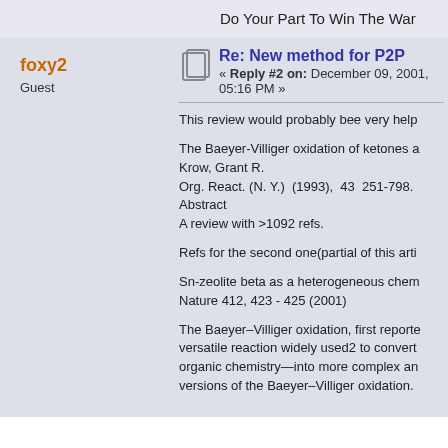Do Your Part To Win The War
foxy2
Guest
Re: New method for P2P
« Reply #2 on: December 09, 2001, 05:16 PM »
This review would probably bee very help
The Baeyer-Villiger oxidation of ketones a
Krow, Grant R.
Org. React. (N. Y.)  (1993),  43  251-798.
Abstract
A review with >1092 refs.
Refs for the second one(partial of this arti
Sn-zeolite beta as a heterogeneous chem
Nature 412, 423 - 425 (2001)
The Baeyer–Villiger oxidation, first reporte
versatile reaction widely used2 to convert
organic chemistry—into more complex an
versions of the Baeyer–Villiger oxidation.